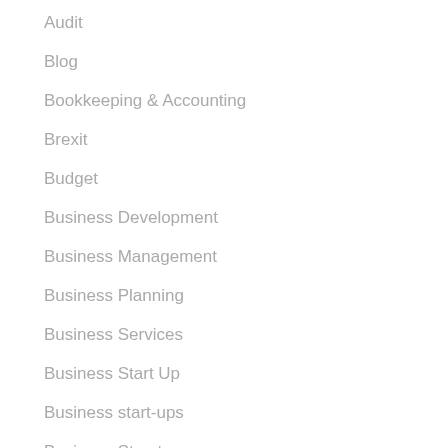Audit
Blog
Bookkeeping & Accounting
Brexit
Budget
Business Development
Business Management
Business Planning
Business Services
Business Start Up
Business start-ups
Business Structures